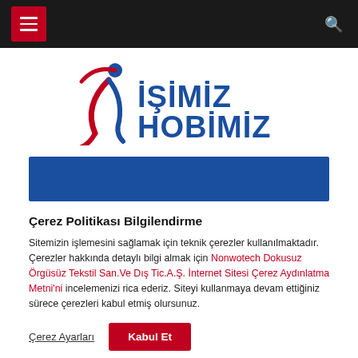Navigation bar with hamburger menu and search icon
[Figure (logo): İşimiz Hobimiz logo with stylized person figure in red and blue, and bold blue text 'İŞİMİZ HOBİMİZ']
[Figure (other): Solid blue decorative banner/strip]
Çerez Politikası Bilgilendirme
Sitemizin işlemesini sağlamak için teknik çerezler kullanılmaktadır. Çerezler hakkında detaylı bilgi almak için Nonwotech Dokusuz Örgüsüz Tekstil San.Ve Dış Tic.A.Ş. İnternet Sitesi Çerez Aydınlatma Metni'ni incelemenizi rica ederiz. Siteyi kullanmaya devam ettiğiniz sürece çerezleri kabul etmiş olursunuz.
Çerez Ayarları | Kabul Et